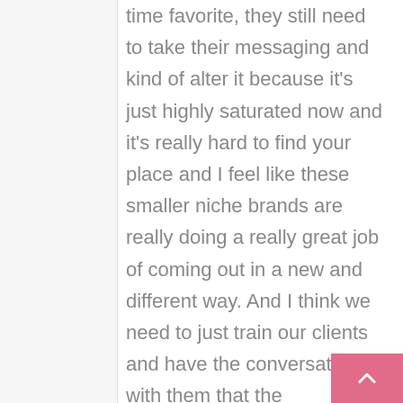time favorite, they still need to take their messaging and kind of alter it because it's just highly saturated now and it's really hard to find your place and I feel like these smaller niche brands are really doing a really great job of coming out in a new and different way. And I think we need to just train our clients and have the conversation with them that the messaging always has to be very tactful, and exciting, and fresh, and new, because to be quite honest, the consumers are smarter than they ever were in the past, let's just say that. Everyone is definitely more knowledgeable that what they're putting on their bodies and their f